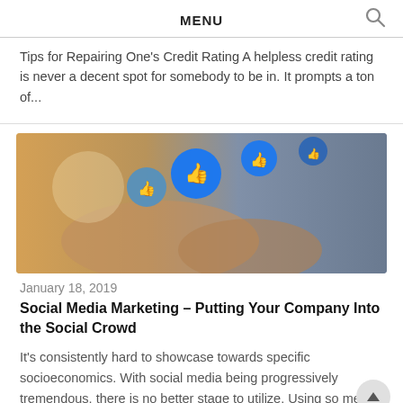MENU
Tips for Repairing One's Credit Rating A helpless credit rating is never a decent spot for somebody to be in. It prompts a ton of...
[Figure (photo): Hands holding a smartphone with blue social media like/thumbs-up icons floating above it]
January 18, 2019
Social Media Marketing – Putting Your Company Into the Social Crowd
It's consistently hard to showcase towards specific socioeconomics. With social media being progressively tremendous, there is no better stage to utilize. Using so media for...